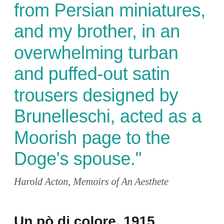from Persian miniatures, and my brother, in an overwhelming turban and puffed-out satin trousers designed by Brunelleschi, acted as a Moorish page to the Doge’s spouse.”
Harold Acton, Memoirs of An Aesthete
Un pò di colore, 1915
On March 17 1915, at the La Pergola theatre in Florence, Hortense Mitchell Acton and her nine-year-